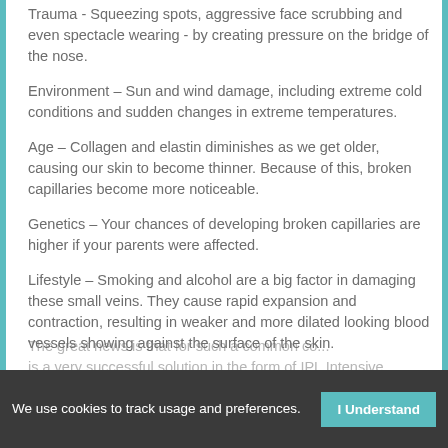Trauma - Squeezing spots, aggressive face scrubbing and even spectacle wearing - by creating pressure on the bridge of the nose.
Environment – Sun and wind damage, including extreme cold conditions and sudden changes in extreme temperatures.
Age – Collagen and elastin diminishes as we get older, causing our skin to become thinner. Because of this, broken capillaries become more noticeable.
Genetics – Your chances of developing broken capillaries are higher if your parents were affected.
Lifestyle – Smoking and alcohol are a big factor in damaging these small veins. They cause rapid expansion and contraction, resulting in weaker and more dilated looking blood vessels showing against the surface of the skin.
The great news is that for such a common co... is a very successful solution in the form of IPL Intensive
We use cookies to track usage and preferences.